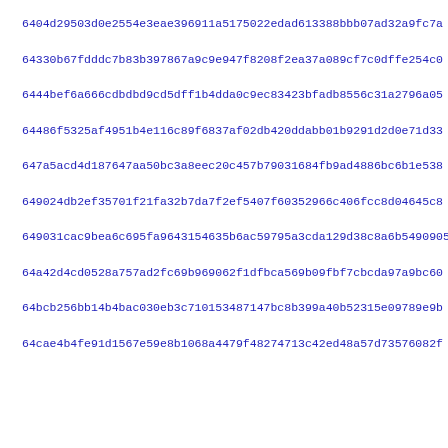6404d29503d0e2554e3eae396911a5175022edad613388bbb07ad32a9fc7a
64330b67fdddc7b83b397867a9c9e947f8208f2ea37a089cf7c0dffe254c0
6444bef6a666cdbdbd9cd5dff1b4dda0c9ec83423bfadb8556c31a2796a05
64486f5325af4951b4e116c89f6837af02db420ddabb01b9291d2d0e71d33
647a5acd4d187647aa50bc3a8eec20c457b79031684fb9ad4886bc6b1e538
649024db2ef35701f21fa32b7da7f2ef5407f60352966c406fcc8d04645c8
649031cac9bea6c695fa9643154635b6ac59795a3cda129d38c8a6b5490905
64a42d4cd0528a757ad2fc69b969062f1dfbca569b09fbf7cbcda97a9bc60
64bcb256bb14b4bac030eb3c710153487147bc8b399a40b52315e09789e9b
64cae4b4fe91d1567e59e8b1068a4479f48274713c42ed48a57d73576082f